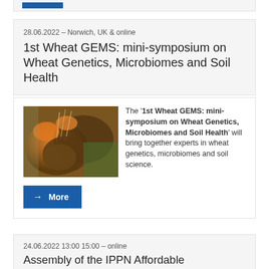[Figure (photo): Partial card top with blue button/bar visible]
28.06.2022 – Norwich, UK & online
1st Wheat GEMS: mini-symposium on Wheat Genetics, Microbiomes and Soil Health
[Figure (photo): Person wearing orange gloves holding a plant with soil clinging to roots]
The '1st Wheat GEMS: mini-symposium on Wheat Genetics, Microbiomes and Soil Health' will bring together experts in wheat genetics, microbiomes and soil science.
More
24.06.2022 13:00 15:00 – online
Assembly of the IPPN Affordable Phenotyping Working Group